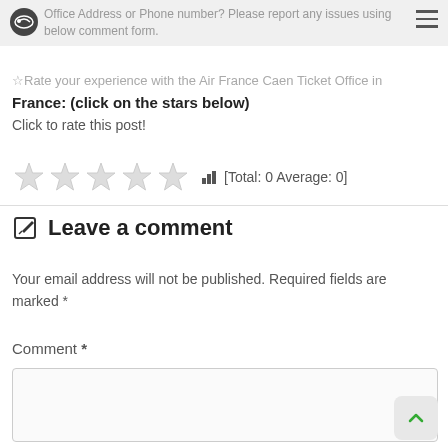Office Address or Phone number? Please report any issues using below comment form.
Rate your experience with the Air France Caen Ticket Office in France: (click on the stars below)
Click to rate this post!
[Figure (other): 5 grey/empty star rating icons followed by a bar chart icon and text [Total: 0 Average: 0]]
Leave a comment
Your email address will not be published. Required fields are marked *
Comment *